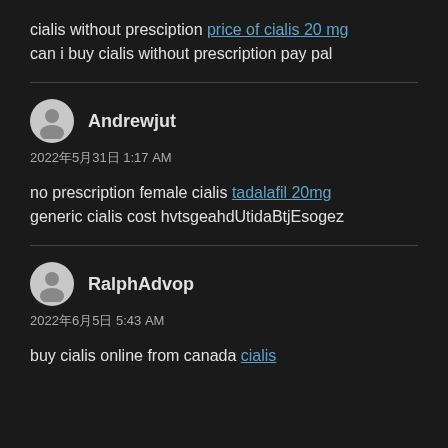cialis without presciption price of cialis 20 mg can i buy cialis without prescription pay pal
Andrewjut
2022年5月31日 1:17 AM
no prescription female cialis tadalafil 20mg generic cialis cost hvtsgeahdUtidaBtjEsogez
RalphAdvop
2022年6月5日 5:43 AM
buy cialis online from canada cialis